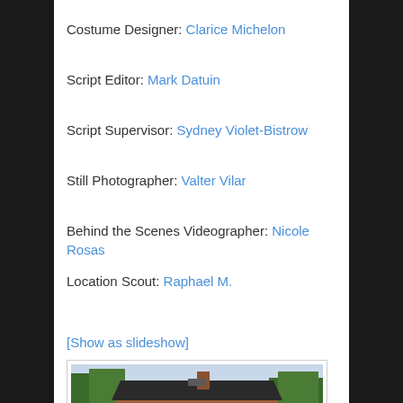Costume Designer: Clarice Michelon
Script Editor: Mark Datuin
Script Supervisor: Sydney Violet-Bistrow
Still Photographer: Valter Vilar
Behind the Scenes Videographer: Nicole Rosas
Location Scout: Raphael M.
[Show as slideshow]
[Figure (photo): Exterior photo of a brick building with trees in the foreground and a light blue sky background]